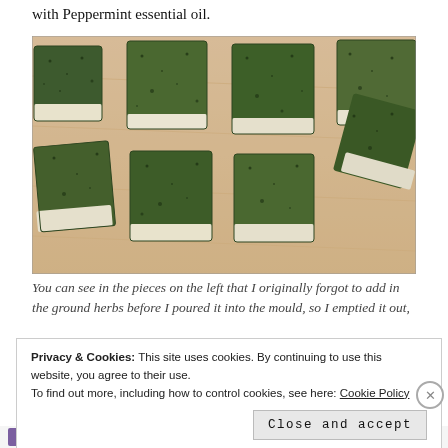with Peppermint essential oil.
[Figure (photo): Green herb soap bars cut into pieces laid out on a wooden cutting board. The soaps have a dark green speckled top layer and a white base layer.]
You can see in the pieces on the left that I originally forgot to add in the ground herbs before I poured it into the mould, so I emptied it out,
Privacy & Cookies: This site uses cookies. By continuing to use this website, you agree to their use.
To find out more, including how to control cookies, see here: Cookie Policy
Close and accept